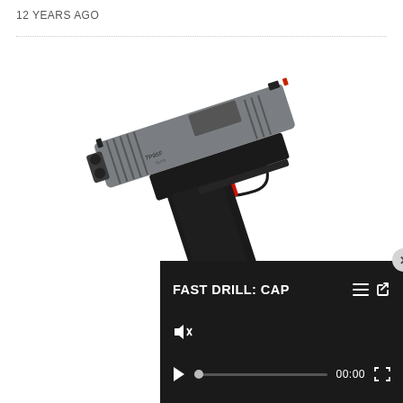12 YEARS AGO
[Figure (photo): A semi-automatic pistol (TP9SF Elite) shown in profile view against a white background, black polymer frame with textured grip, gray metallic slide with serrations and red trigger.]
[Figure (screenshot): Video player overlay on dark background showing title 'FAST DRILL: CAP' with menu/share icons, muted speaker icon, play button, progress bar at 00:00, and fullscreen button. Close button (x) in top-right corner.]